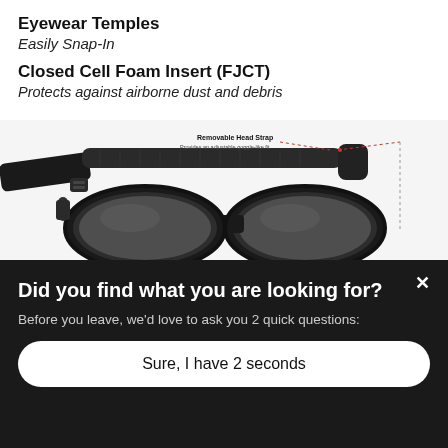Eyewear Temples
Easily Snap-In
Closed Cell Foam Insert (FJCT)
Protects against airborne dust and debris
[Figure (photo): Safety goggles/glasses with black frame and dark lenses, featuring a removable adjustable head strap providing a goggle-like fit. Annotation label reads 'Removable Head Strap' with sub-text 'Provides an adjustable goggle-like fit' with dotted lines pointing to the strap area.]
Did you find what you are looking for?
Before you leave, we'd love to ask you 2 quick questions:
Sure, I have 2 seconds